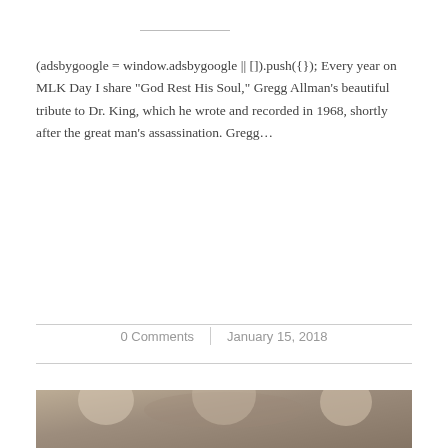(adsbygoogle = window.adsbygoogle || []).push({}); Every year on MLK Day I share "God Rest His Soul," Gregg Allman's beautiful tribute to Dr. King, which he wrote and recorded in 1968, shortly after the great man's assassination. Gregg…
0 Comments | January 15, 2018
[Figure (photo): Black and white photograph of three people posing together; the person on the left has light-colored hair and sunglasses, the person in the middle is wearing an animal (pig/mouse) mask, and the person on the right is smiling.]